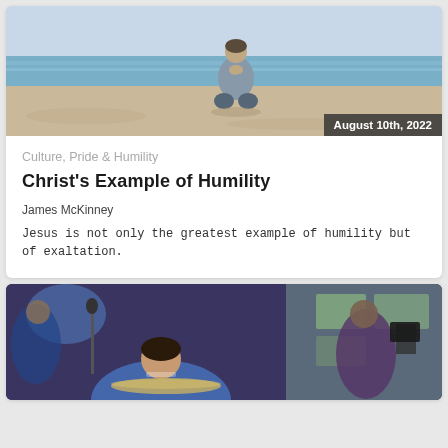[Figure (photo): Man kneeling in prayer on a beach with the ocean in the background]
August 10th, 2022
Culture, Pride & Humility
Christ's Example of Humility
James McKinney
Jesus is not only the greatest example of humility but of exaltation.
[Figure (photo): Musicians performing, a man playing drums in the foreground with others in the background in a dimly lit room]